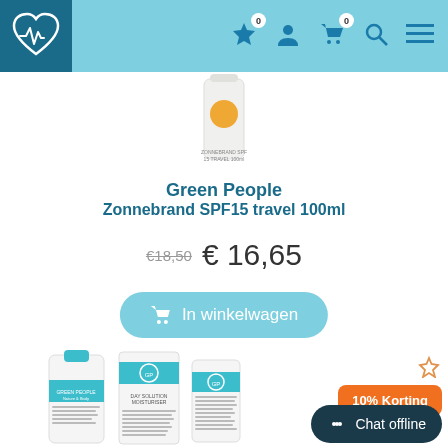Navigation header with logo, wishlist (0), user, cart (0), search, menu icons
[Figure (photo): Green People Zonnebrand SPF15 product tube, white/cream colored with orange label]
Green People
Zonnebrand SPF15 travel 100ml
€18,50  € 16,65
In winkelwagen
[Figure (photo): Green People day solution moisturiser product bottles, teal/white colored]
10% Korting
Chat offline